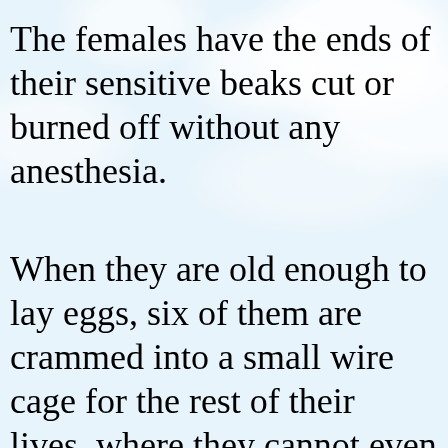The females have the ends of their sensitive beaks cut or burned off without any anesthesia.
When they are old enough to lay eggs, six of them are crammed into a small wire cage for the rest of their lives, where they cannot even stretch out their wings, and so they suffer all the days of their lives without any medical care